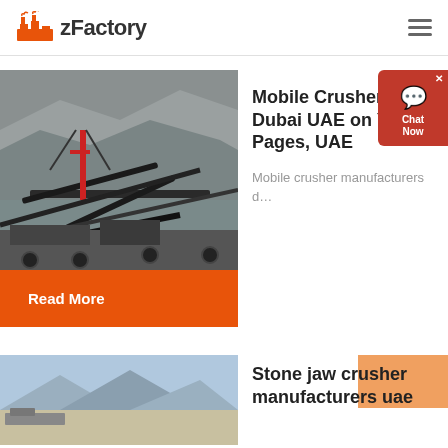zFactory
[Figure (photo): Industrial mobile crusher/screening plant at a rocky quarry site with conveyor belts and machinery]
Mobile Crusher in Dubai UAE on Yellow Pages, UAE
Mobile crusher manufacturers d...
Read More
[Figure (photo): Stone jaw crusher landscape scene with mountains in background]
Stone jaw crusher manufacturers uae